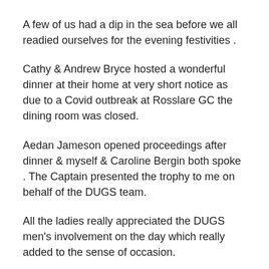A few of us had a dip in the sea before we all readied ourselves for the evening festivities .
Cathy & Andrew Bryce hosted a wonderful dinner at their home at very short notice as due to a Covid outbreak at Rosslare GC the dining room was closed.
Aedan Jameson opened proceedings after dinner & myself & Caroline Bergin both spoke . The Captain presented the trophy to me on behalf of the DUGS team.
All the ladies really appreciated the DUGS men's involvement on the day which really added to the sense of occasion.
After the great enjoyment had by one & all I have today been in touch with my contacts in Rosses Point & Dooks GC to discuss a possible DUGS ladies match.